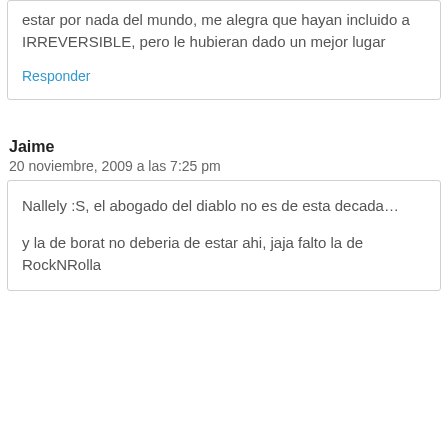estar por nada del mundo, me alegra que hayan incluido a IRREVERSIBLE, pero le hubieran dado un mejor lugar
Responder
Jaime
20 noviembre, 2009 a las 7:25 pm
Nallely :S, el abogado del diablo no es de esta decada…
y la de borat no deberia de estar ahi, jaja falto la de RockNRolla